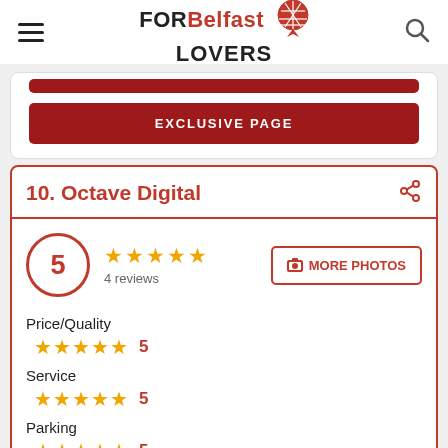FOR Belfast LOVERS
EXCLUSIVE PAGE
10. Octave Digital
5 — 4 reviews — MORE PHOTOS
Price/Quality 5
Service 5
Parking 5